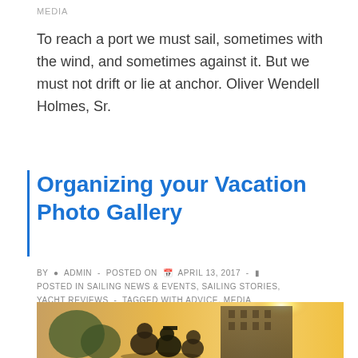MEDIA
To reach a port we must sail, sometimes with the wind, and sometimes against it. But we must not drift or lie at anchor. Oliver Wendell Holmes, Sr.
Organizing your Vacation Photo Gallery
BY  ADMIN  -  POSTED ON  APRIL 13, 2017  -  POSTED IN SAILING NEWS & EVENTS, SAILING STORIES, YACHT REVIEWS  -  TAGGED WITH ADVICE, MEDIA
[Figure (photo): People photographing or looking at a scene outdoors, backlit by warm golden sunlight, with a building structure visible in the background.]